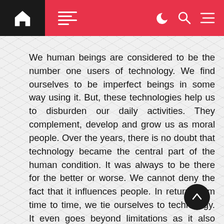[Navigation bar with home, menu, dark mode, search, and options icons]
We human beings are considered to be the number one users of technology. We find ourselves to be imperfect beings in some way using it. But, these technologies help us to disburden our daily activities. They complement, develop and grow us as moral people. Over the years, there is no doubt that technology became the central part of the human condition. It was always to be there for the better or worse. We cannot deny the fact that it influences people. In return, from time to time, we tie ourselves to technology. It even goes beyond limitations as it also changes the ethical and moral beings of the people. In real life, the relationship between technology and humanity is enormous where it comes to serving us and influencing our views. It is difficult to imagine and understand from where these technologies have started. But, one way for us to look at this relationship is through